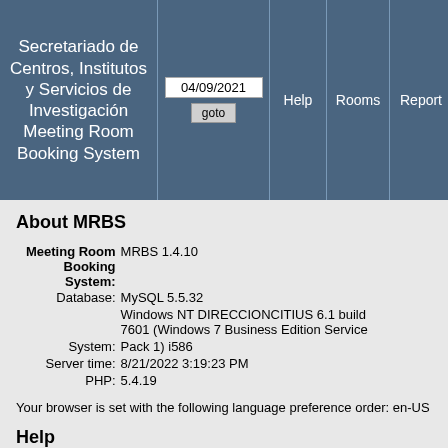Secretariado de Centros, Institutos y Servicios de Investigación Meeting Room Booking System
About MRBS
| Field | Value |
| --- | --- |
| Meeting Room Booking System: | MRBS 1.4.10 |
| Database: | MySQL 5.5.32 |
| System: | Windows NT DIRECCIONCITIUS 6.1 build 7601 (Windows 7 Business Edition Service Pack 1) i586 |
| Server time: | 8/21/2022 3:19:23 PM |
| PHP: | 5.4.19 |
Your browser is set with the following language preference order: en-US
Help